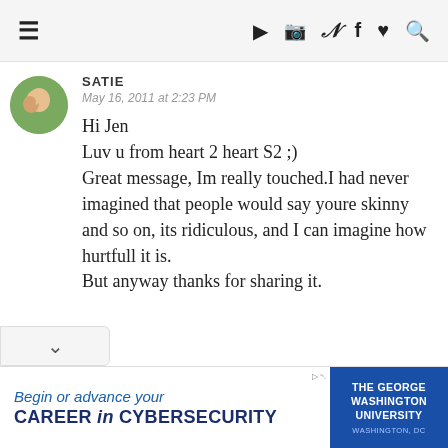≡  ▶  📷  𝕏  f  ♥  🔍
SATIE
May 16, 2011 at 2:23 PM

Hi Jen
Luv u from heart 2 heart S2 ;)
Great message, Im really touched.I had never imagined that people would say youre skinny and so on, its ridiculous, and I can imagine how hurtfull it is.
But anyway thanks for sharing it.
[Figure (other): Advertisement banner: 'Begin or advance your CAREER in CYBERSECURITY' with The George Washington University logo on blue background]